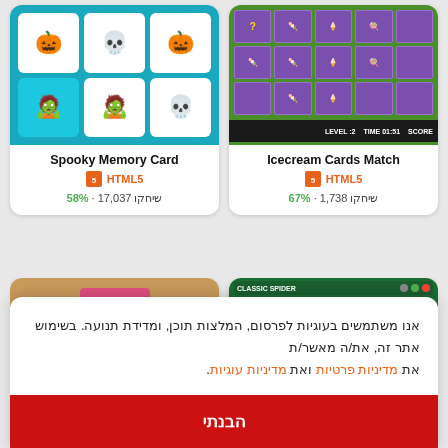[Figure (screenshot): Spooky Memory Card game screenshot - card matching game with Halloween characters]
Spooky Memory Card
HTML5
58% · 17,037 שיחקו
[Figure (screenshot): Icecream Cards Match game screenshot - card matching game with ice cream items]
Icecream Cards Match
HTML5
67% · 1,738 שיחקו
[Figure (screenshot): Fox card game screenshot]
[Figure (screenshot): Classic Spider solitaire game screenshot]
אנו משתמשים בעוגיות לפרסום, המלצות תוכן, ומדידת תנועה. בשימוש אתר זה, את/ה מאשר/ת את מדיניות פרטיות ואת מדיניות עוגיות.
הבנתי